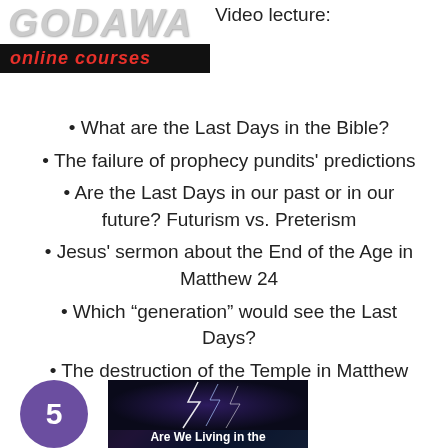[Figure (logo): Godawa Online Courses logo — GODAWA in large italic grey text above a black banner with 'online courses' in red italic]
Video lecture:
What are the Last Days in the Bible?
The failure of prophecy pundits' predictions
Are the Last Days in our past or in our future? Futurism vs. Preterism
Jesus' sermon about the End of the Age in Matthew 24
Which “generation” would see the Last Days?
The destruction of the Temple in Matthew 24
[Figure (illustration): Purple circle with number 5 on the left, and a dark thumbnail image showing lightning with text 'Are We Living in the ...' at the bottom]